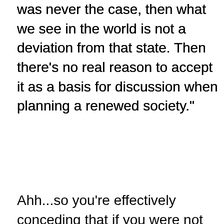was never the case, then what we see in the world is not a deviation from that state. Then there's no real reason to accept it as a basis for discussion when planning a renewed society."
Ahh...so you're effectively conceding that if you were not "planning a renewed society" that what you learn ECON 100 can be quite useful for understanding the world in which we live today. So if a proposed policy change were marginal, say, a price cap on gasoline, then the Econ 100 prediction of a gasoline shortage will be valid. Do you